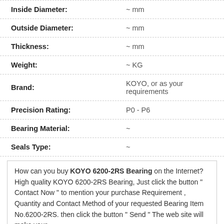| Property | Value |
| --- | --- |
| Inside Diameter: | ~ mm |
| Outside Diameter: | ~ mm |
| Thickness: | ~ mm |
| Weight: | ~ KG |
| Brand: | KOYO, or as your requirements |
| Precision Rating: | P0 - P6 |
| Bearing Material: | ~ |
| Seals Type: | ~ |
How can you buy KOYO 6200-2RS Bearing on the Internet? High quality KOYO 6200-2RS Bearing, Just click the button " Contact Now " to mention your purchase Requirement , Quantity and Contact Method of your requested Bearing Item No.6200-2RS. then click the button " Send " The web site will make your